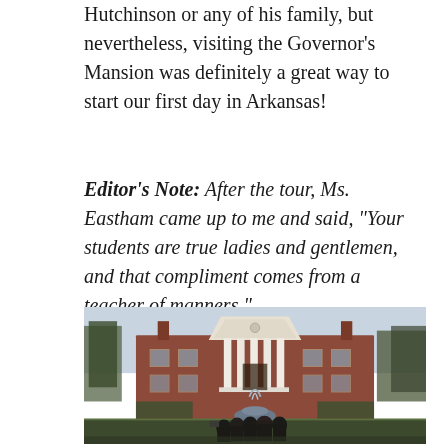Hutchinson or any of his family, but nevertheless, visiting the Governor's Mansion was definitely a great way to start our first day in Arkansas!
Editor's Note: After the tour, Ms. Eastham came up to me and said, "Your students are true ladies and gentlemen, and that compliment comes from a teacher of manners."
[Figure (photo): Group of students taking a selfie in front of the Arkansas Governor's Mansion, a large red brick colonial-style building with white columns and a fountain in the foreground.]